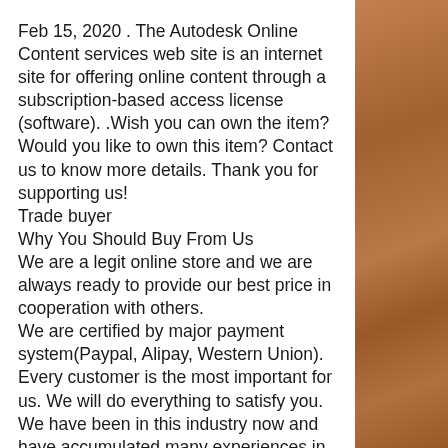Feb 15, 2020 . The Autodesk Online Content services web site is an internet site for offering online content through a subscription-based access license (software). .Wish you can own the item? Would you like to own this item? Contact us to know more details. Thank you for supporting us!
Trade buyer
Why You Should Buy From Us
We are a legit online store and we are always ready to provide our best price in cooperation with others.
We are certified by major payment system(Paypal, Alipay, Western Union).
Every customer is the most important for us. We will do everything to satisfy you.
We have been in this industry now and have accumulated many experiences in this field.
[Figure (photo): Brown/terracotta textured stone or clay surface forming a vertical strip on the right side of the page]